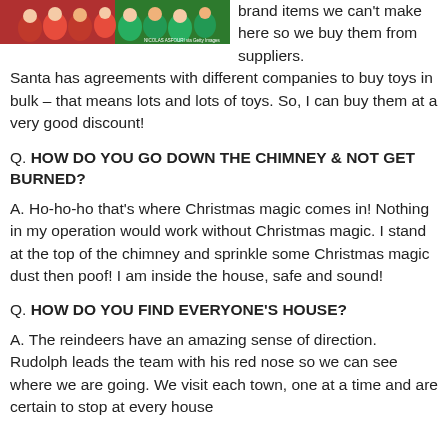[Figure (photo): Group photo of people dressed in red and green Christmas costumes/elves, with a Getty Images watermark (NICOLAS ASFOURI via Getty Images)]
brand items we can't make here so we buy them from suppliers. Santa has agreements with different companies to buy toys in bulk – that means lots and lots of toys. So, I can buy them at a very good discount!
Q. HOW DO YOU GO DOWN THE CHIMNEY & NOT GET BURNED?
A. Ho-ho-ho that's where Christmas magic comes in! Nothing in my operation would work without Christmas magic. I stand at the top of the chimney and sprinkle some Christmas magic dust then poof! I am inside the house, safe and sound!
Q. HOW DO YOU FIND EVERYONE'S HOUSE?
A. The reindeers have an amazing sense of direction. Rudolph leads the team with his red nose so we can see where we are going. We visit each town, one at a time and are certain to stop at every house